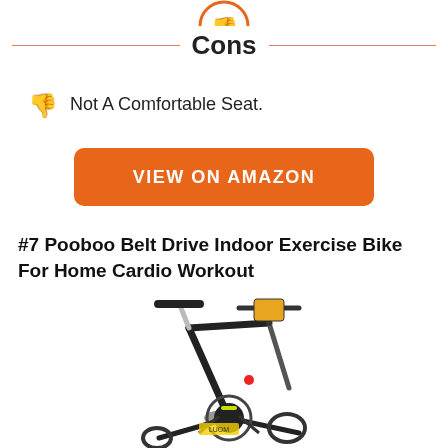[Figure (illustration): Partial orange thumbs-down icon at top of page]
Cons
Not A Comfortable Seat.
VIEW ON AMAZON
#7 Pooboo Belt Drive Indoor Exercise Bike For Home Cardio Workout
[Figure (photo): Photo of Pooboo Belt Drive Indoor Exercise Bike, black with yellow accents, showing handlebar with phone mount and seat]